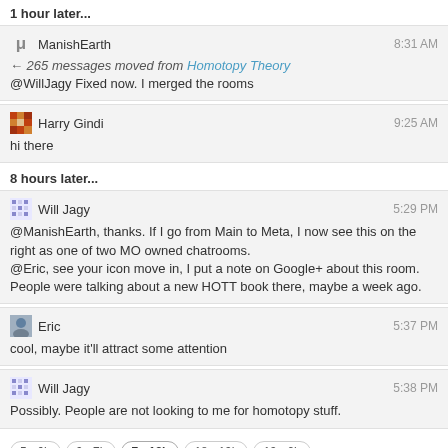1 hour later...
ManishEarth 8:31 AM ← 265 messages moved from Homotopy Theory @WillJagy Fixed now. I merged the rooms
Harry Gindi 9:25 AM hi there
8 hours later...
Will Jagy 5:29 PM @ManishEarth, thanks. If I go from Main to Meta, I now see this on the right as one of two MO owned chatrooms. @Eric, see your icon move in, I put a note on Google+ about this room. People were talking about a new HOTT book there, maybe a week ago.
Eric 5:37 PM cool, maybe it'll attract some attention
Will Jagy 5:38 PM Possibly. People are not looking to me for homotopy stuff.
5 - 6h
6 - 7h
7 - 18h
18 - 19h
19 - 0h
next day →
last day »
join this room